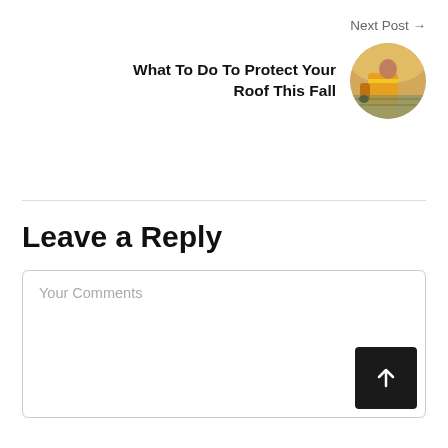Next Post →
What To Do To Protect Your Roof This Fall
[Figure (photo): Circular thumbnail photo of a roofing worker in a high-visibility vest on a rooftop, with warm sunlight in the background.]
Leave a Reply
Your Comments